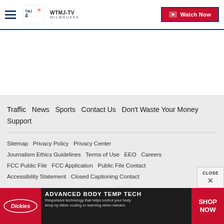WTMJ-TV MILWAUKEE | Watch Now
Traffic  News  Sports  Contact Us  Don't Waste Your Money  Support
Sitemap  Privacy Policy  Privacy Center  Journalism Ethics Guidelines  Terms of Use  EEO  Careers  FCC Public File  FCC Application  Public File Contact  Accessibility Statement  Closed Captioning Contact
[Figure (screenshot): Advertisement banner for Dickies Advanced Body Temp Tech with SHOP NOW call to action]